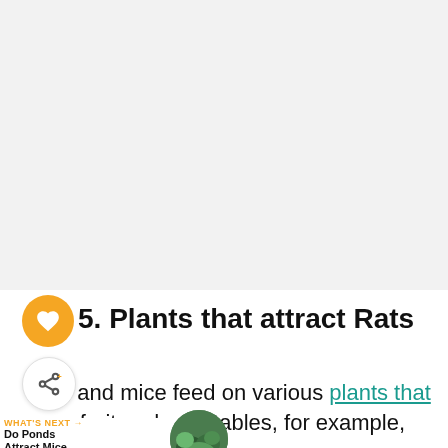[Figure (other): Large light gray blank/advertisement area at top of page]
5. Plants that attract Rats
Rats and mice feed on various plants that grow fruit and vegetables, for example,